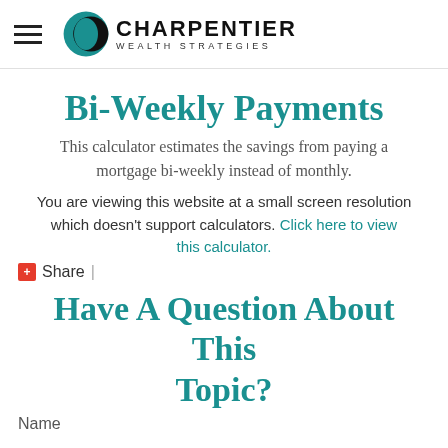Charpentier Wealth Strategies
Bi-Weekly Payments
This calculator estimates the savings from paying a mortgage bi-weekly instead of monthly.
You are viewing this website at a small screen resolution which doesn't support calculators. Click here to view this calculator.
Share |
Have A Question About This Topic?
Name